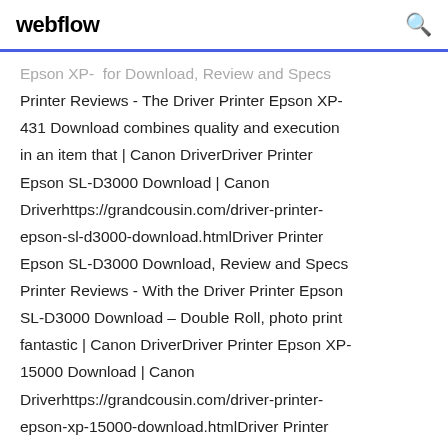webflow
Epson XP- for Download, Review and Specs Printer Reviews - The Driver Printer Epson XP-431 Download combines quality and execution in an item that | Canon DriverDriver Printer Epson SL-D3000 Download | Canon Driverhttps://grandcousin.com/driver-printer-epson-sl-d3000-download.htmlDriver Printer Epson SL-D3000 Download, Review and Specs Printer Reviews - With the Driver Printer Epson SL-D3000 Download – Double Roll, photo print fantastic | Canon DriverDriver Printer Epson XP-15000 Download | Canon Driverhttps://grandcousin.com/driver-printer-epson-xp-15000-download.htmlDriver Printer Epson XP-15000 Download, Review and Specs